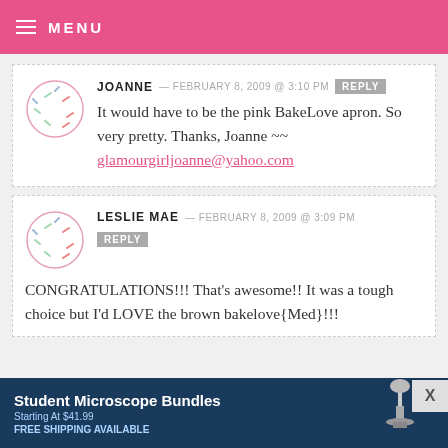MENU
JOANNE — FEBRUARY 8, 2009 @ 3:10 PM
It would have to be the pink BakeLove apron. So very pretty. Thanks, Joanne ~~ glamourgirljoanne@yahoo.com
LESLIE MAE — FEBRUARY 8, 2009 @ 3:09 PM
CONGRATULATIONS!!! That's awesome!! It was a tough choice but I'd LOVE the brown bakelove{Med}!!!